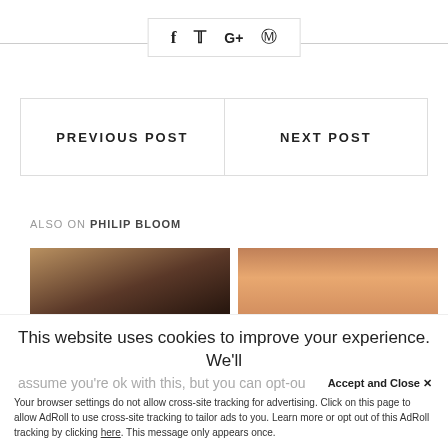[Figure (other): Social share buttons bar with f (Facebook), Twitter bird, G+ (Google Plus), and Pinterest icons in a bordered rectangle]
PREVIOUS POST
NEXT POST
ALSO ON PHILIP BLOOM
[Figure (photo): Close-up photo of a woman with blonde hair covering part of her face]
[Figure (photo): Photo of clouds in a warm sunset sky with orange/pink tones]
This website uses cookies to improve your experience. We'll
assume you're ok with this, but you can opt-ou
Accept and Close ✕
Your browser settings do not allow cross-site tracking for advertising. Click on this page to allow AdRoll to use cross-site tracking to tailor ads to you. Learn more or opt out of this AdRoll tracking by clicking here. This message only appears once.